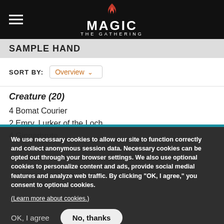MAGIC THE GATHERING
SAMPLE HAND
SORT BY: Overview
Creature (20)
4 Bomat Courier
2 Emry, Lurker of the Loch
4 Gingerbrute
We use necessary cookies to allow our site to function correctly and collect anonymous session data. Necessary cookies can be opted out through your browser settings. We also use optional cookies to personalize content and ads, provide social medial features and analyze web traffic. By clicking “OK, I agree,” you consent to optional cookies.
(Learn more about cookies.)
OK, I agree   No, thanks